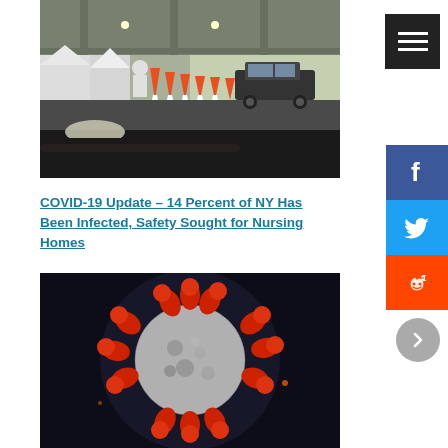[Figure (photo): Drive-through COVID-19 testing site under a covered structure with orange traffic cones, healthcare workers in PPE, and cars lined up]
COVID-19 Update – 14 Percent of NY Has Been Infected, Safety Sought for Nursing Homes
[Figure (photo): Close-up 3D illustration of a coronavirus particle with red spike proteins on a dark background]